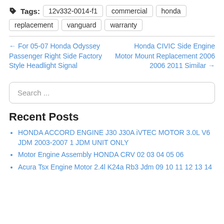Tags: 12v332-0014-f1  commercial  honda  replacement  vanguard  warranty
← For 05-07 Honda Odyssey Passenger Right Side Factory Style Headlight Signal
Honda CIVIC Side Engine Motor Mount Replacement 2006 2006 2011 Similar →
Search ...
Recent Posts
HONDA ACCORD ENGINE J30 J30A iVTEC MOTOR 3.0L V6 JDM 2003-2007 1 JDM UNIT ONLY
Motor Engine Assembly HONDA CRV 02 03 04 05 06
Acura Tsx Engine Motor 2.4l K24a Rb3 Jdm 09 10 11 12 13 14